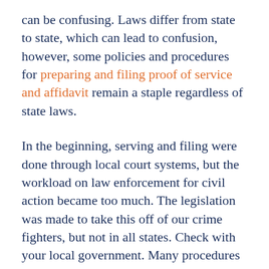can be confusing. Laws differ from state to state, which can lead to confusion, however, some policies and procedures for preparing and filing proof of service and affidavit remain a staple regardless of state laws.
In the beginning, serving and filing were done through local court systems, but the workload on law enforcement for civil action became too much. The legislation was made to take this off of our crime fighters, but not in all states. Check with your local government. Many procedures and questions are answered regardless of where you are.
Keep reading to learn the basic steps for how to prepare and file proof of service and affidavit.